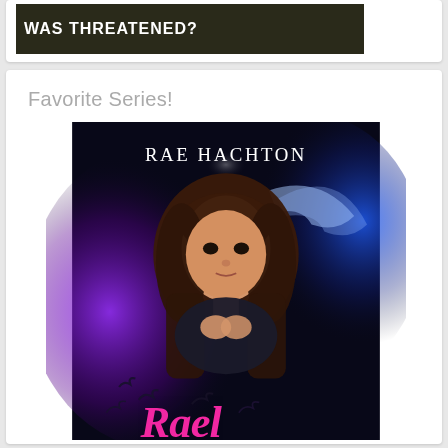[Figure (screenshot): Top portion of a webpage card showing dark banner with text 'WAS THREATENED?' in white bold uppercase letters on dark olive/black background]
Favorite Series!
[Figure (photo): Book cover for Rae Hachton featuring a young woman with long reddish-brown hair, surrounded by purple and blue magical energy/light effects, with dark bird silhouettes at the bottom and pink stylized text partially visible at the lower portion of the cover]